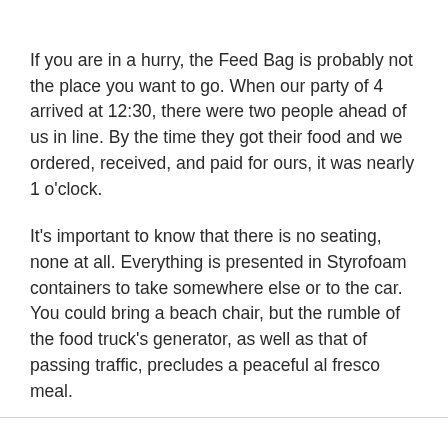If you are in a hurry, the Feed Bag is probably not the place you want to go. When our party of 4 arrived at 12:30, there were two people ahead of us in line. By the time they got their food and we ordered, received, and paid for ours, it was nearly 1 o'clock.
It's important to know that there is no seating, none at all. Everything is presented in Styrofoam containers to take somewhere else or to the car. You could bring a beach chair, but the rumble of the food truck's generator, as well as that of passing traffic, precludes a peaceful al fresco meal.